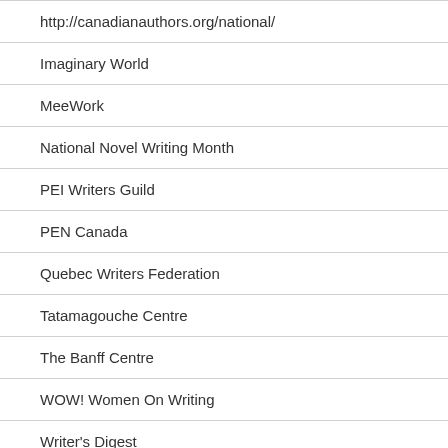http://canadianauthors.org/national/
Imaginary World
MeeWork
National Novel Writing Month
PEI Writers Guild
PEN Canada
Quebec Writers Federation
Tatamagouche Centre
The Banff Centre
WOW! Women On Writing
Writer's Digest